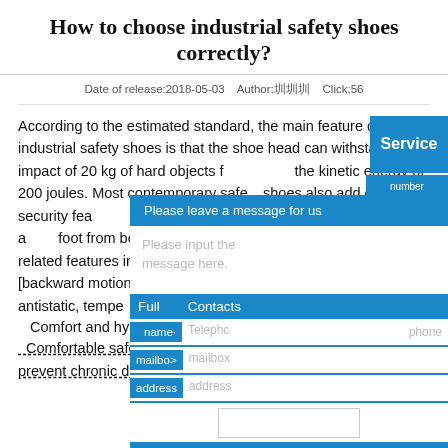How to choose industrial safety shoes correctly?
Date of release:2018-05-03   Author:圳圳圳   Click:56
According to the estimated standard, the main feature of industrial safety shoes is that the shoe head can withstand an impact of 20 kg of hard objects falling from the kinetic energy of 200 joules. Most contemporary safety shoes also add other security features in the different categories of products. Includes a foot from being pierced by nails and other sharp objects. related features include skid resistance [forward motion] grip [backward motion]. Other safety shoes may be preset minimum antistatic, temperature resistance, and chemicals [ph].
Comfort and hygiene
Comfortable safety shoes can improve worker productivity and prevent chronic disease in the foot or leg.